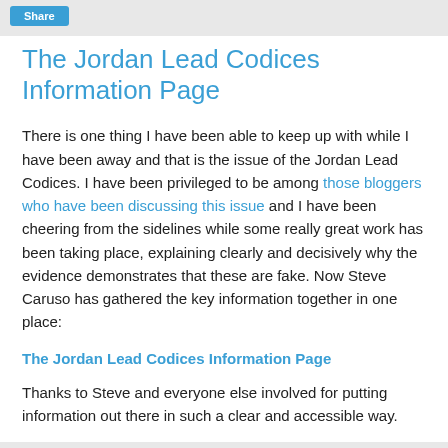Share
The Jordan Lead Codices Information Page
There is one thing I have been able to keep up with while I have been away and that is the issue of the Jordan Lead Codices.  I have been privileged to be among those bloggers who have been discussing this issue and I have been cheering from the sidelines while some really great work has been taking place, explaining clearly and decisively why the evidence demonstrates that these are fake.  Now Steve Caruso has gathered the key information together in one place:
The Jordan Lead Codices Information Page
Thanks to Steve and everyone else involved for putting information out there in such a clear and accessible way.